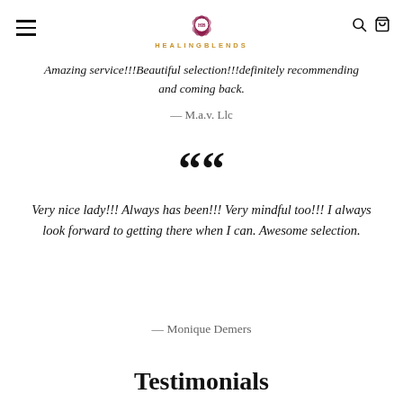HEALINGBLENDS
Amazing service!!!Beautiful selection!!!definitely recommending and coming back.
— M.a.v. Llc
““
Very nice lady!!! Always has been!!! Very mindful too!!! I always look forward to getting there when I can. Awesome selection.
— Monique Demers
Testimonials